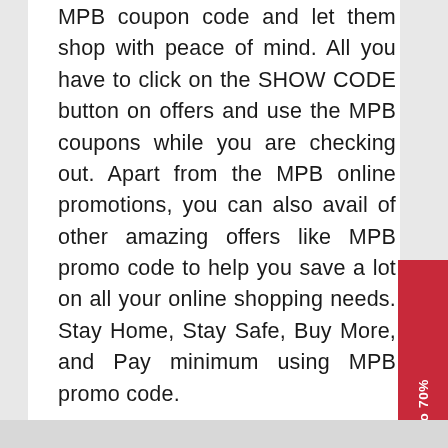MPB coupon code and let them shop with peace of mind. All you have to click on the SHOW CODE button on offers and use the MPB coupons while you are checking out. Apart from the MPB online promotions, you can also avail of other amazing offers like MPB promo code to help you save a lot on all your online shopping needs. Stay Home, Stay Safe, Buy More, and Pay minimum using MPB promo code.
MPB coupons
[Figure (other): Red sidebar tab on the right side reading 'Car Rental, Save up to 70%' written vertically]
[Figure (other): Red sidebar tab on the right side reading 'Get 10 images for FREE' written vertically]